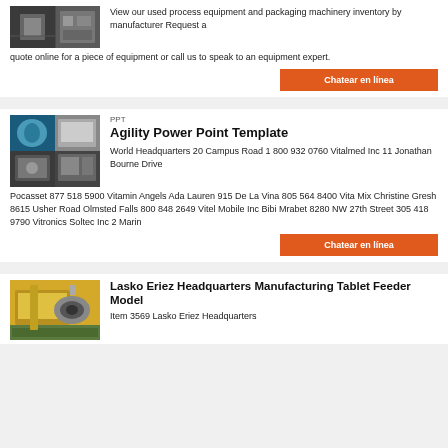[Figure (photo): Thumbnail image of process equipment or machinery]
View our used process equipment and packaging machinery inventory by manufacturer Request a quote online for a piece of equipment or call us to speak to an equipment expert.
Chatear en línea
[Figure (photo): Thumbnail image showing industrial mixing/processing equipment - blue tanks and machinery]
PPT
Agility Power Point Template
World Headquarters 20 Campus Road 1 800 932 0760 Vitalmed Inc 11 Jonathan Bourne Drive Pocasset 877 518 5900 Vitamin Angels Ada Lauren 915 De La Vina 805 564 8400 Vita Mix Christine Gresh 8615 Usher Road Olmsted Falls 800 848 2649 Vitel Mobile Inc Bibi Mrabet 8280 NW 27th Street 305 418 9790 Vitronics Soltec Inc 2 Marin
Chatear en línea
[Figure (photo): Thumbnail image of Lasko Eriez manufacturing equipment - industrial feeder machinery]
Lasko Eriez Headquarters Manufacturing Tablet Feeder Model
Item 3569 Lasko Eriez Headquarters